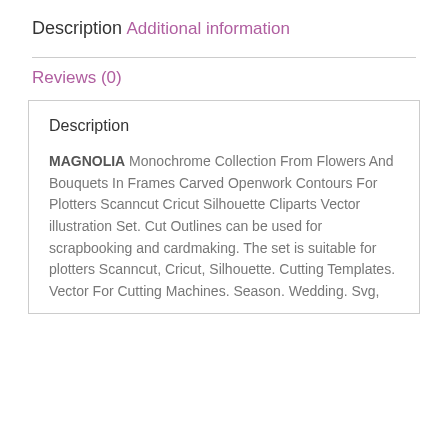Description
Additional information
Reviews (0)
Description
MAGNOLIA Monochrome Collection From Flowers And Bouquets In Frames Carved Openwork Contours For Plotters Scanncut Cricut Silhouette Cliparts Vector illustration Set. Cut Outlines can be used for scrapbooking and cardmaking. The set is suitable for plotters Scanncut, Cricut, Silhouette. Cutting Templates. Vector For Cutting Machines. Season. Wedding. Svg,